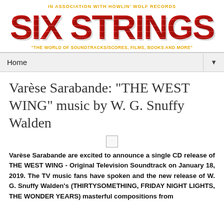[Figure (logo): Six Strings website logo banner with tagline 'IN ASSOCIATION WITH HOWLIN' WOLF RECORDS' at top in orange, large red 'SIX STRINGS' text in center, and tagline '"THE WORLD OF SOUNDTRACKS/SCORES, FILMS, BOOKS AND MORE"' at bottom in orange]
Home ▼
Varèse Sarabande: "THE WEST WING" music by W. G. Snuffy Walden
[Figure (photo): Small image placeholder box]
Varèse Sarabande are excited to announce a single CD release of THE WEST WING - Original Television Soundtrack on January 18, 2019. The TV music fans have spoken and the new release of W. G. Snuffy Walden's (THIRTYSOMETHING, FRIDAY NIGHT LIGHTS, THE WONDER YEARS) masterful compositions from